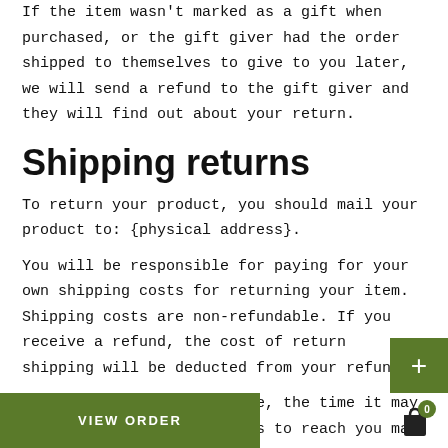If the item wasn't marked as a gift when purchased, or the gift giver had the order shipped to themselves to give to you later, we will send a refund to the gift giver and they will find out about your return.
Shipping returns
To return your product, you should mail your product to: {physical address}.
You will be responsible for paying for your own shipping costs for returning your item. Shipping costs are non-refundable. If you receive a refund, the cost of return shipping will be deducted from your refund.
Depending on where you live, the time it may take for exchanged products to reach you may vary.
If you are returning more expensive items, you may consider